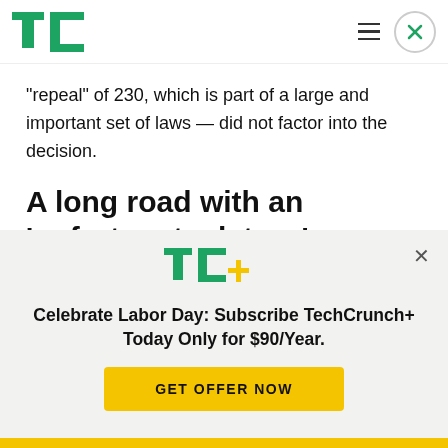TechCrunch logo, hamburger menu, close button
“repeal” of 230, which is part of a large and important set of laws — did not factor into the decision.
A long road with an ‘unfortunate detour’
In fact the push to reform Section 230 has been
[Figure (logo): TC+ logo in green and yellow]
Celebrate Labor Day: Subscribe TechCrunch+ Today Only for $90/Year.
GET OFFER NOW